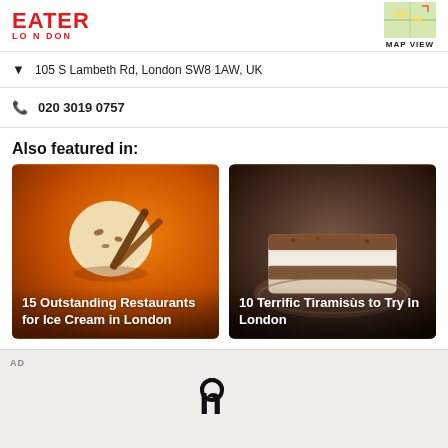EATER LONDON
105 S Lambeth Rd, London SW8 1AW, UK
020 3019 0757
Also featured in:
[Figure (photo): Ice cream scoop with spoon on orange background — article card for '15 Outstanding Restaurants for Ice Cream in London']
[Figure (photo): Slice of tiramisu dusted with cocoa powder — article card for '10 Terrific Tiramisùs to Try In London']
AD